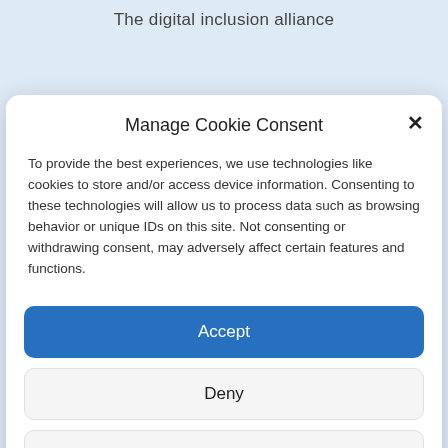The digital inclusion alliance
Manage Cookie Consent
To provide the best experiences, we use technologies like cookies to store and/or access device information. Consenting to these technologies will allow us to process data such as browsing behavior or unique IDs on this site. Not consenting or withdrawing consent, may adversely affect certain features and functions.
Accept
Deny
View preferences